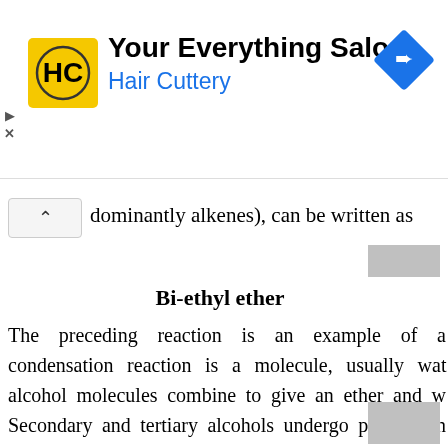[Figure (other): Advertisement banner for Hair Cuttery salon with logo, text 'Your Everything Salon Hair Cuttery', and navigation arrow icon]
dominantly alkenes), can be written as
[Figure (other): Gray placeholder box for chemical formula image]
Bi-ethyl ether
The preceding reaction is an example of a condensation reaction is a molecule, usually water, alcohol molecules combine to give an ether and w... Secondary and tertiary alcohols undergo predominantly when subjected to these conditions. Occasionally a symmetrical ether is formed as a by-product in the alcohols
[Figure (other): Gray placeholder box for chemical formula image]